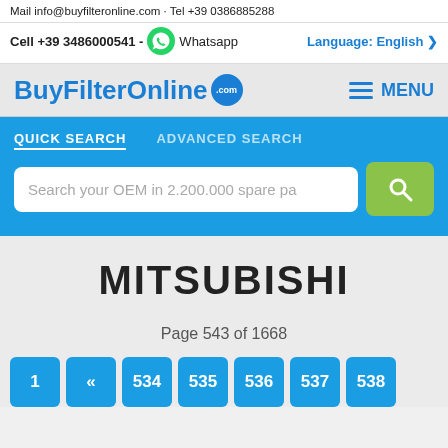Mail info@buyfilteronline.com · Tel +39 0386885288
Cell +39 3486000541 - Whatsapp
Language: English
BuyFilterOnline.com
MENU
QUICK SEARCH   ADVANCED SEARCH
Search your OEM in 2.200.000 spare pa
MITSUBISHI
Page 543 of 1668
1  «  534  535  536  537  538